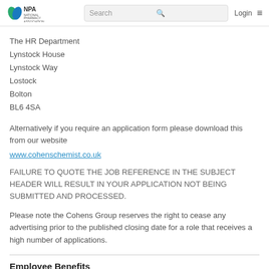NPA National Pharmacy Association | Search | Login
The HR Department
Lynstock House
Lynstock Way
Lostock
Bolton
BL6 4SA
Alternatively if you require an application form please download this from our website
www.cohenschemist.co.uk
FAILURE TO QUOTE THE JOB REFERENCE IN THE SUBJECT HEADER WILL RESULT IN YOUR APPLICATION NOT BEING SUBMITTED AND PROCESSED.
Please note the Cohens Group reserves the right to cease any advertising prior to the published closing date for a role that receives a high number of applications.
Employee Benefits